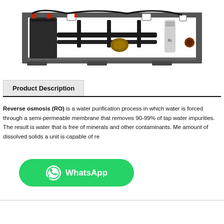[Figure (photo): Industrial reverse osmosis water purification unit mounted on a metal skid frame, viewed from above/front angle. Shows multiple black pipes, pressure vessels, pump, filtration canisters, control panels, and valves arranged on a rectangular steel frame with forklift pockets.]
Product Description
Reverse osmosis (RO) is a water purification process in which water is forced through a semi-permeable membrane that removes 90-99% of tap water impurities. The result is water that is free of minerals and other contaminants. Me amount of dissolved solids a unit is capable of re
[Figure (logo): WhatsApp button — green rounded rectangle with WhatsApp logo icon and text 'WhatsApp']